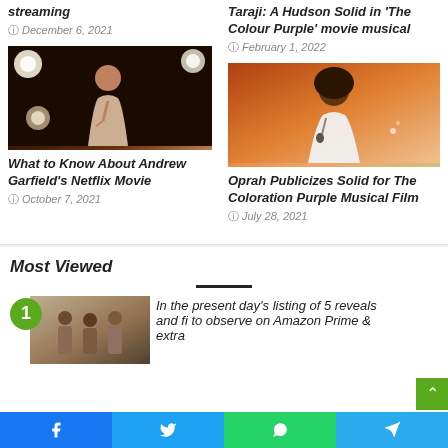streaming
December 6, 2021
Taraji: Hudson Solid in 'The Colour Purple' movie musical
February 1, 2022
[Figure (photo): Andrew Garfield performing on stage with microphone, dark background with stage lights]
What to Know About Andrew Garfield's Netflix Movie
October 7, 2021
[Figure (photo): Oprah Winfrey in white blazer holding microphone on stage with orange/gradient background]
Oprah Publicizes Solid for The Coloration Purple Musical Film
July 28, 2021
Most Viewed
[Figure (photo): People walking outdoors, appears to be a tropical or warm outdoor scene]
In the present day's listing of 5 reveals and fi to observe on Amazon Prime & extra